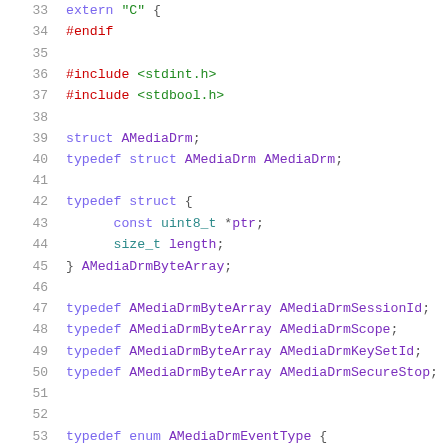Source code listing lines 33-54, C header file with extern C block, includes, struct and typedef declarations for AMediaDrm types